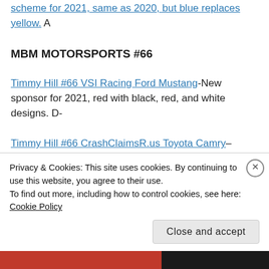scheme for 2021, same as 2020, but blue replaces yellow. A
MBM MOTORSPORTS #66
Timmy Hill #66 VSI Racing Ford Mustang-New sponsor for 2021, red with black, red, and white designs. D-
Timmy Hill #66 CrashClaimsR.us Toyota Camry– New scheme for 2021, black with white and red
Privacy & Cookies: This site uses cookies. By continuing to use this website, you agree to their use.
To find out more, including how to control cookies, see here: Cookie Policy
Close and accept